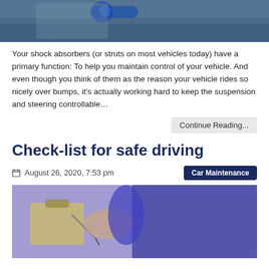[Figure (photo): Close-up photo of a vehicle engine component, showing a blue cap and mechanical parts under the hood.]
Your shock absorbers (or struts on most vehicles today) have a primary function: To help you maintain control of your vehicle. And even though you think of them as the reason your vehicle rides so nicely over bumps, it's actually working hard to keep the suspension and steering controllable…
Continue Reading...
Check-list for safe driving
August 26, 2020, 7:53 pm
Car Maintenance
[Figure (photo): A mechanic in a blue uniform holding a clipboard and pen, writing a checklist inside a vehicle.]